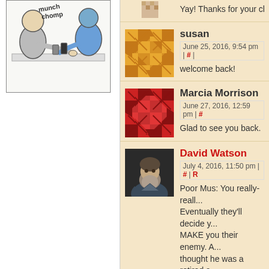[Figure (illustration): Comic strip illustration showing people at a table, with 'munch chomp' text]
Yay! Thanks for your cho...
susan
June 25, 2016, 9:54 pm
welcome back!
Marcia Morrison
June 27, 2016, 12:59 pm
Glad to see you back.
David Watson
July 4, 2016, 11:50 pm
Poor Mus: You really-reall... Eventually they'll decide y... MAKE you their enemy. A... thought he was a retired a...
Carl H
August 9, 2016, 7:00 pm
FYI gang – She's still havi... blues, check live journal fo... catch-up